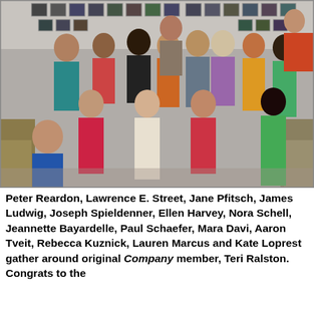[Figure (photo): Group photo of theater cast members posing together in a room with framed photos on the wall. People in colorful outfits, some kneeling in front, others standing behind. Large group of approximately 15-16 people.]
Peter Reardon, Lawrence E. Street, Jane Pfitsch, James Ludwig, Joseph Spieldenner, Ellen Harvey, Nora Schell, Jeannette Bayardelle, Paul Schaefer, Mara Davi, Aaron Tveit, Rebecca Kuznick, Lauren Marcus and Kate Loprest gather around original Company member, Teri Ralston. Congrats to the